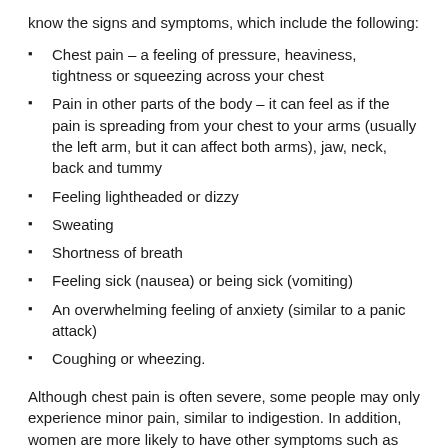know the signs and symptoms, which include the following:
Chest pain – a feeling of pressure, heaviness, tightness or squeezing across your chest
Pain in other parts of the body – it can feel as if the pain is spreading from your chest to your arms (usually the left arm, but it can affect both arms), jaw, neck, back and tummy
Feeling lightheaded or dizzy
Sweating
Shortness of breath
Feeling sick (nausea) or being sick (vomiting)
An overwhelming feeling of anxiety (similar to a panic attack)
Coughing or wheezing.
Although chest pain is often severe, some people may only experience minor pain, similar to indigestion. In addition, women are more likely to have other symptoms such as